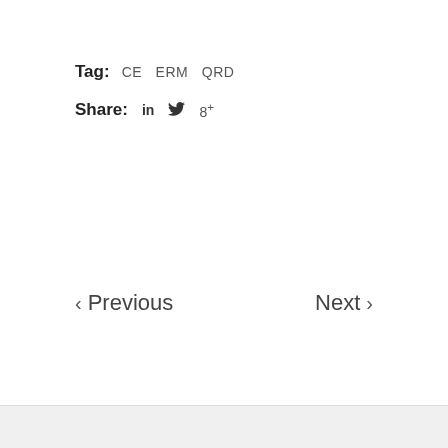Tag: CE ERM QRD
Share: in [twitter] 8+
< Previous
Next >